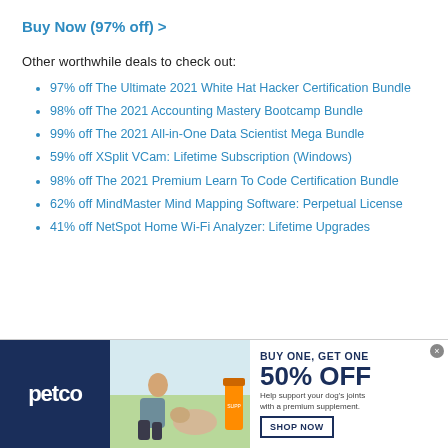Buy Now (97% off) >
Other worthwhile deals to check out:
97% off The Ultimate 2021 White Hat Hacker Certification Bundle
98% off The 2021 Accounting Mastery Bootcamp Bundle
99% off The 2021 All-in-One Data Scientist Mega Bundle
59% off XSplit VCam: Lifetime Subscription (Windows)
98% off The 2021 Premium Learn To Code Certification Bundle
62% off MindMaster Mind Mapping Software: Perpetual License
41% off NetSpot Home Wi-Fi Analyzer: Lifetime Upgrades
[Figure (infographic): Petco advertisement banner: BUY ONE, GET ONE 50% OFF on dog joint supplement. Shows woman with dog and supplement product. Includes SHOP NOW button.]